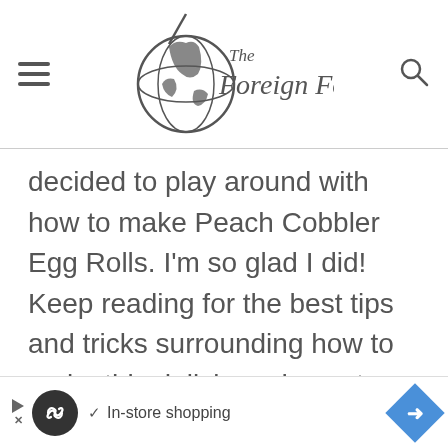The Foreign Fork
decided to play around with how to make Peach Cobbler Egg Rolls. I'm so glad I did! Keep reading for the best tips and tricks surrounding how to make this delicious dessert.
[Figure (infographic): Advertisement bar: play button, infinity loop circle icon, checkmark, 'In-store shopping' text, blue diamond arrow icon]